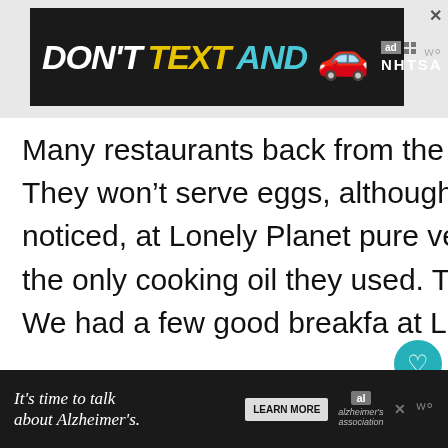[Figure (other): Advertisement banner: DON'T TEXT AND [car emoji] ad NHTSA logo on dark background]
Many restaurants back from the beach serve Indian “pure veg” food. They won’t serve eggs, although curd and paneer do feature. We noticed, at Lonely Planet pure veg restaurant, that vegetable oil was the only cooking oil they used. This could be a safe bet for vegans. We had a few good breakfa at Lonely Planet.
Alcoholic Drinks in Kovalam
[Figure (other): Advertisement banner: It’s time to talk about Alzheimer’s. LEARN MORE button. Alzheimer’s association logo.]